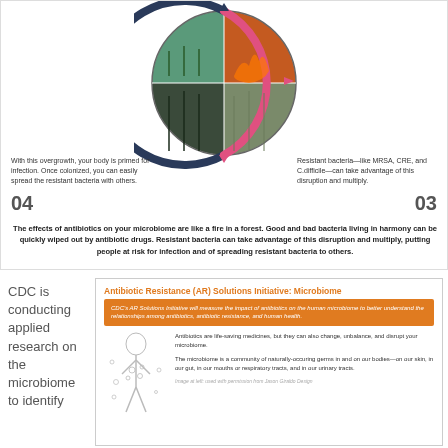[Figure (infographic): Circular infographic showing forest fire analogy for antibiotic disruption of microbiome, with quadrant images (green forest, fire, dark forest, misty forest) and rotating arrows in navy and pink]
With this overgrowth, your body is primed for infection. Once colonized, you can easily spread the resistant bacteria with others.
04
Resistant bacteria—like MRSA, CRE, and C.difficile—can take advantage of this disruption and multiply.
03
The effects of antibiotics on your microbiome are like a fire in a forest. Good and bad bacteria living in harmony can be quickly wiped out by antibiotic drugs. Resistant bacteria can take advantage of this disruption and multiply, putting people at risk for infection and of spreading resistant bacteria to others.
CDC is conducting applied research on the microbiome to identify
[Figure (infographic): Antibiotic Resistance (AR) Solutions Initiative: Microbiome info card with orange header bar, body text about antibiotics and microbiome, and human body illustration]